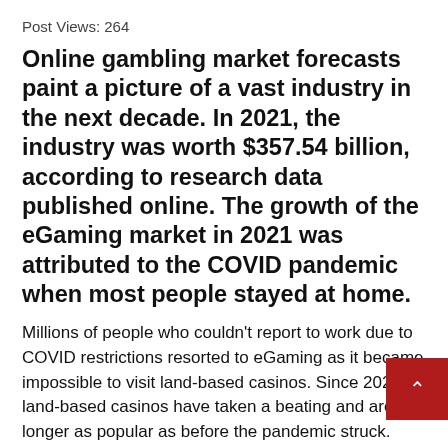Post Views: 264
Online gambling market forecasts paint a picture of a vast industry in the next decade. In 2021, the industry was worth $357.54 billion, according to research data published online. The growth of the eGaming market in 2021 was attributed to the COVID pandemic when most people stayed at home.
Millions of people who couldn't report to work due to COVID restrictions resorted to eGaming as it became impossible to visit land-based casinos. Since 2021, land-based casinos have taken a beating and are no longer as popular as before the pandemic struck.
This...